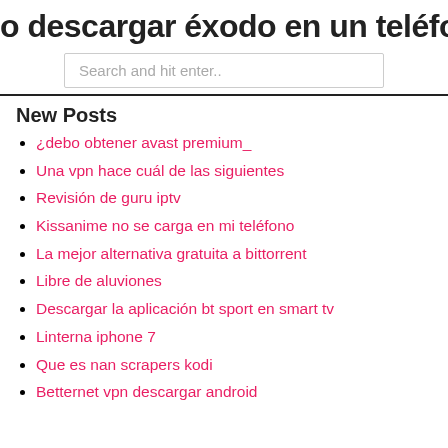o descargar éxodo en un teléfono an
[Figure (screenshot): Search input box with placeholder text 'Search and hit enter..']
New Posts
¿debo obtener avast premium_
Una vpn hace cuál de las siguientes
Revisión de guru iptv
Kissanime no se carga en mi teléfono
La mejor alternativa gratuita a bittorrent
Libre de aluviones
Descargar la aplicación bt sport en smart tv
Linterna iphone 7
Que es nan scrapers kodi
Betternet vpn descargar android